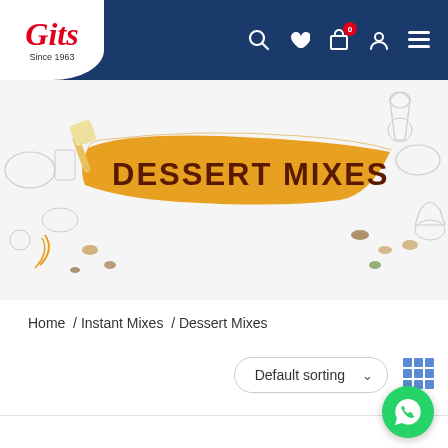[Figure (logo): Gits logo - red italic text 'Gits' with 'Since 1963' below, on white background]
[Figure (screenshot): Gits website header with dark blue navigation bar containing search, heart, cart (badge: 0), user, and menu icons]
[Figure (illustration): Dessert Mixes banner with orange brush stroke containing bold dark red text 'DESSERT MIXES', surrounded by food illustrations including nuts, spices, dessert icons on light grey illustrated background]
Home / Instant Mixes / Dessert Mixes
Default sorting
[Figure (screenshot): Green WhatsApp chat button in bottom right corner]